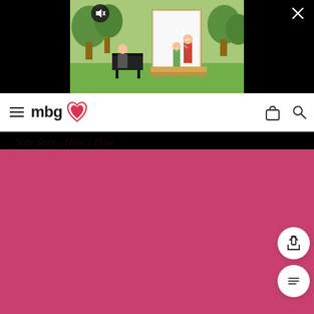[Figure (screenshot): Video player showing outdoor scene with woman at piano and people on a deck, with mute button and close button overlaid on black background]
[Figure (logo): mbg (mindbodygreen) logo with heart icon, hamburger menu, shopping bag icon, and search icon in white navigation bar]
Stay Sexy—Here's How
[Figure (photo): Large pink/rose colored content area below the article title]